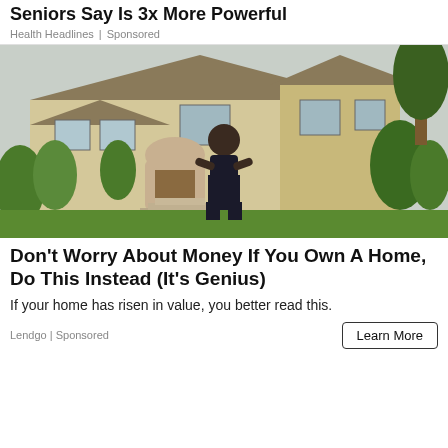Seniors Say Is 3x More Powerful
Health Headlines | Sponsored
[Figure (photo): Woman in black dress standing in front of a large luxury home with trees and greenery]
Don't Worry About Money If You Own A Home, Do This Instead (It's Genius)
If your home has risen in value, you better read this.
Lendgo | Sponsored
Learn More